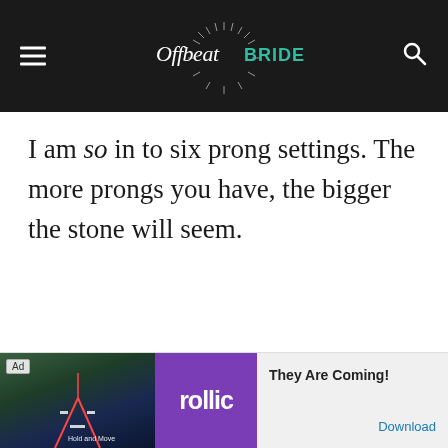Offbeat Bride
I am so in to six prong settings. The more prongs you have, the bigger the stone will seem.
[Figure (screenshot): Advertisement banner at bottom: Rollic game ad with text 'They Are Coming!' and a Download link]